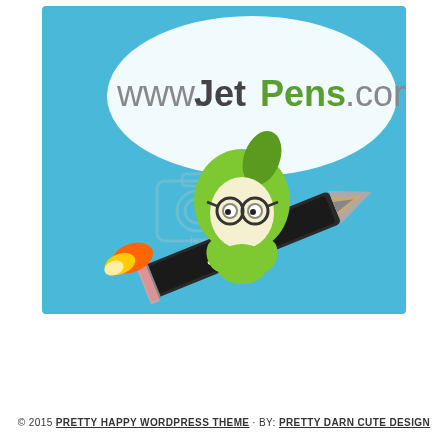[Figure (illustration): JetPens.com promotional image: cartoon green character with glasses riding a giant pencil like a rocket (with flame), on a blue background, with a speech bubble showing 'www.JetPens.com' and a Photobucket watermark overlay.]
© 2015 PRETTY HAPPY WORDPRESS THEME · BY: PRETTY DARN CUTE DESIGN